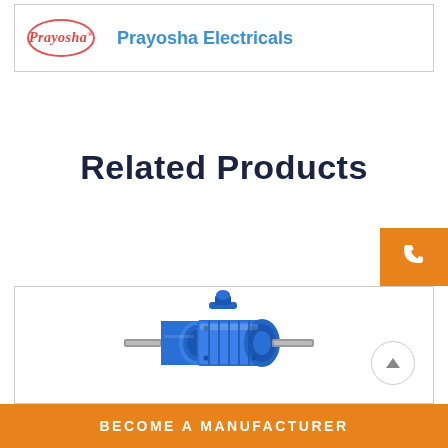Prayosha Electricals
Related Products
[Figure (photo): Blue planetary gear motor / speed reducer with shaft on both sides]
BECOME A MANUFACTURER